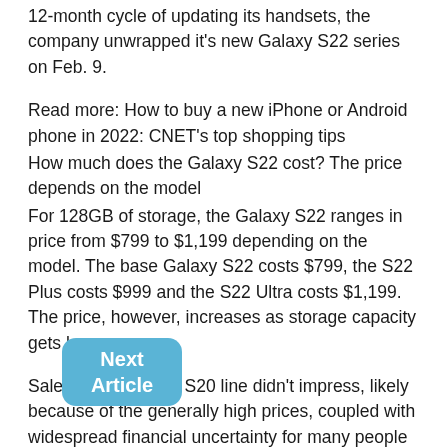12-month cycle of updating its handsets, the company unwrapped it's new Galaxy S22 series on Feb. 9.
Read more: How to buy a new iPhone or Android phone in 2022: CNET's top shopping tips
How much does the Galaxy S22 cost? The price depends on the model
For 128GB of storage, the Galaxy S22 ranges in price from $799 to $1,199 depending on the model. The base Galaxy S22 costs $799, the S22 Plus costs $999 and the S22 Ultra costs $1,199. The price, however, increases as storage capacity gets larger.
Sales of the Galaxy S20 line didn't impress, likely because of the generally high prices, coupled with widespread financial uncertainty for many people caused by the pandemic. The S21 offered handsets at slightly more affordable prices by swapping glass back panels for toughened plastic. (Here are all the differences between the Galaxy S21 and S20.)
[Figure (other): Next Article button overlay - a rounded blue button with text 'Next Article']